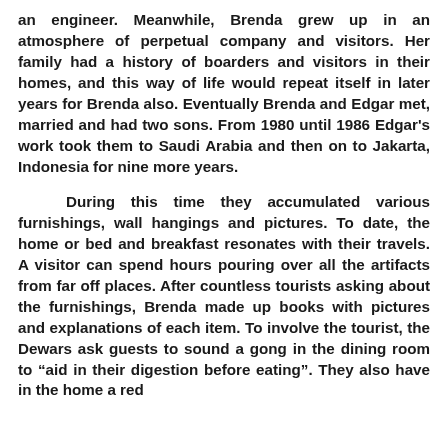an engineer. Meanwhile, Brenda grew up in an atmosphere of perpetual company and visitors. Her family had a history of boarders and visitors in their homes, and this way of life would repeat itself in later years for Brenda also. Eventually Brenda and Edgar met, married and had two sons. From 1980 until 1986 Edgar's work took them to Saudi Arabia and then on to Jakarta, Indonesia for nine more years.
During this time they accumulated various furnishings, wall hangings and pictures. To date, the home or bed and breakfast resonates with their travels. A visitor can spend hours pouring over all the artifacts from far off places. After countless tourists asking about the furnishings, Brenda made up books with pictures and explanations of each item. To involve the tourist, the Dewars ask guests to sound a gong in the dining room to “aid in their digestion before eating”. They also have in the home a red